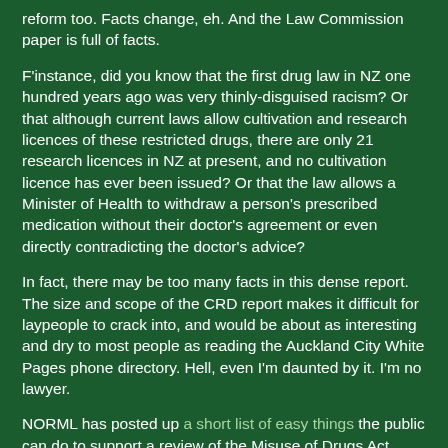reform too. Facts change, eh. And the Law Commission paper is full of facts.
F'instance, did you know that the first drug law in NZ one hundred years ago was very thinly-disguised racism? Or that although current laws allow cultivation and research licences of these restricted drugs, there are only 21 research licences in NZ at present, and no cultivation licence has ever been issued? Or that the law allows a Minister of Health to withdraw a person's prescribed medication without their doctor's agreement or even directly contradicting the doctor's advice?
In fact, there may be too many facts in this dense report. The size and scope of the CRD report makes it difficult for laypeople to crack into, and would be about as interesting and dry to most people as reading the Auckland City White Pages phone directory. Hell, even I'm daunted by it. I'm no lawyer.
NORML has posted up a short list of easy things the public can do to support a review of the Misuse of Drugs Act...